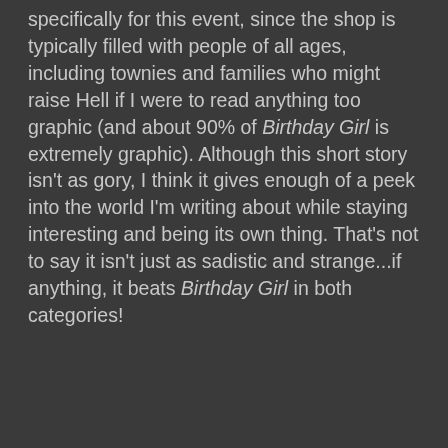specifically for this event, since the shop is typically filled with people of all ages, including townies and families who might raise Hell if I were to read anything too graphic (and about 90% of Birthday Girl is extremely graphic). Although this short story isn't as gory, I think it gives enough of a peek into the world I'm writing about while staying interesting and being its own thing. That's not to say it isn't just as sadistic and strange...if anything, it beats Birthday Girl in both categories!